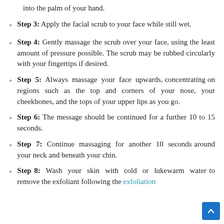into the palm of your hand.
Step 3: Apply the facial scrub to your face while still wet.
Step 4: Gently massage the scrub over your face, using the least amount of pressure possible. The scrub may be rubbed circularly with your fingertips if desired.
Step 5: Always massage your face upwards, concentrating on regions such as the top and corners of your nose, your cheekbones, and the tops of your upper lips as you go.
Step 6: The message should be continued for a further 10 to 15 seconds.
Step 7: Continue massaging for another 10 seconds around your neck and beneath your chin.
Step 8: Wash your skin with cold or lukewarm water to remove the exfoliant following the exfoliation